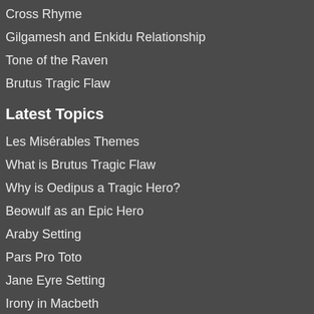Cross Rhyme
Gilgamesh and Enkidu Relationship
Tone of the Raven
Brutus Tragic Flaw
Latest Topics
Les Misérables Themes
What is Brutus Tragic Flaw
Why is Oedipus a Tragic Hero?
Beowulf as an Epic Hero
Araby Setting
Pars Pro Toto
Jane Eyre Setting
Irony in Macbeth
Pure Rhyme